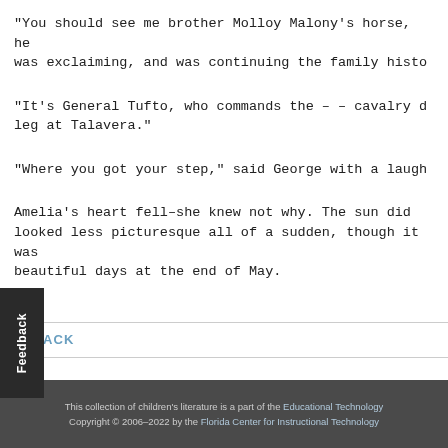“You should see me brother Molloy Malony’s horse, he was exclaiming, and was continuing the family histo
“It’s General Tufto, who commands the –– cavalry d leg at Talavera.”
“Where you got your step,” said George with a laugh
Amelia’s heart fell–she knew not why. The sun did looked less picturesque all of a sudden, though it was beautiful days at the end of May.
← BACK
This collection of children’s literature is a part of the Educational Technology Copyright © 2006–2022 by the Florida Center for Instructional Technology